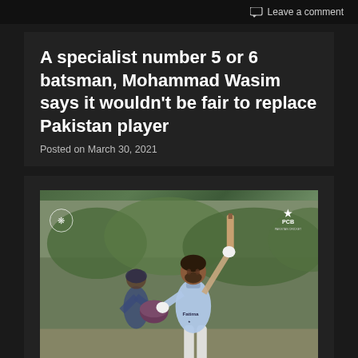Leave a comment
A specialist number 5 or 6 batsman, Mohammad Wasim says it wouldn't be fair to replace Pakistan player
Posted on March 30, 2021
[Figure (photo): Cricket player Mohammad Wasim celebrating, raising his bat with one hand and holding his helmet with the other, wearing a light blue jersey with 'Fatima' sponsor logo, with the PCB logo visible in the top right corner and another logo in the top left corner of the image.]